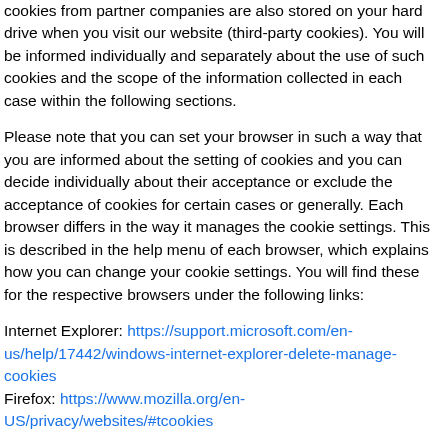cookies from partner companies are also stored on your hard drive when you visit our website (third-party cookies). You will be informed individually and separately about the use of such cookies and the scope of the information collected in each case within the following sections.
Please note that you can set your browser in such a way that you are informed about the setting of cookies and you can decide individually about their acceptance or exclude the acceptance of cookies for certain cases or generally. Each browser differs in the way it manages the cookie settings. This is described in the help menu of each browser, which explains how you can change your cookie settings. You will find these for the respective browsers under the following links:
Internet Explorer: https://support.microsoft.com/en-us/help/17442/windows-internet-explorer-delete-manage-cookies Firefox: https://www.mozilla.org/en-US/privacy/websites/#tcookies